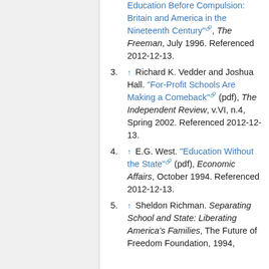2. ↑ Edwin West. "The Spread of Education Before Compulsion: Britain and America in the Nineteenth Century", The Freeman, July 1996. Referenced 2012-12-13.
3. ↑ Richard K. Vedder and Joshua Hall. "For-Profit Schools Are Making a Comeback" (pdf), The Independent Review, v.VI, n.4, Spring 2002. Referenced 2012-12-13.
4. ↑ E.G. West. "Education Without the State" (pdf), Economic Affairs, October 1994. Referenced 2012-12-13.
5. ↑ Sheldon Richman. Separating School and State: Liberating America's Families, The Future of Freedom Foundation, 1994,